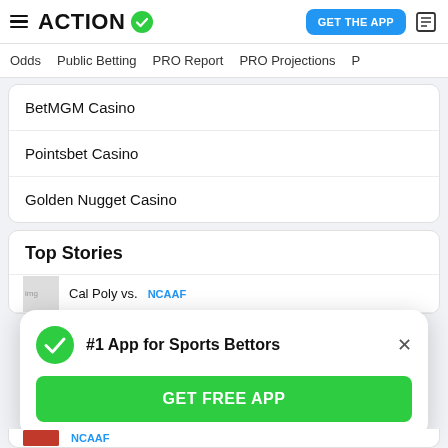ACTION — GET THE APP
Odds | Public Betting | PRO Report | PRO Projections
BetMGM Casino
Pointsbet Casino
Golden Nugget Casino
Top Stories
Cal Poly vs. NCAAF
[Figure (screenshot): #1 App for Sports Bettors popup with GET FREE APP button]
NCAAF